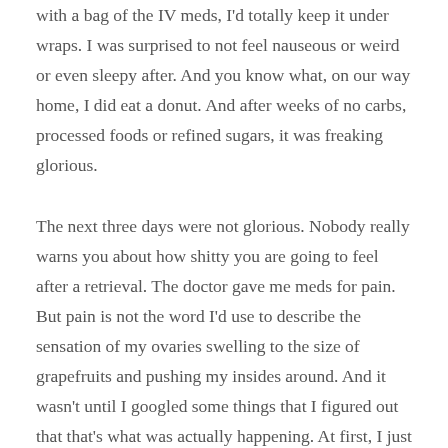with a bag of the IV meds, I'd totally keep it under wraps. I was surprised to not feel nauseous or weird or even sleepy after. And you know what, on our way home, I did eat a donut. And after weeks of no carbs, processed foods or refined sugars, it was freaking glorious.

The next three days were not glorious. Nobody really warns you about how shitty you are going to feel after a retrieval. The doctor gave me meds for pain. But pain is not the word I'd use to describe the sensation of my ovaries swelling to the size of grapefruits and pushing my insides around. And it wasn't until I googled some things that I figured out that that's what was actually happening. At first, I just thought I had about 3 years' worth of farts stuck up inside me, refusing to come out. Walking and sitting down felt like Olympic sports. And of course, I was working in an agency with a bunch of people all around to witness my grimacing waddle-walk.